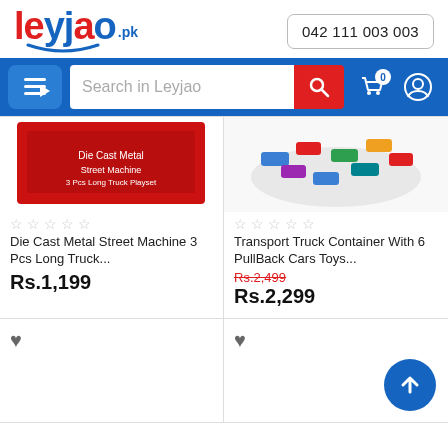[Figure (logo): Leyjao.pk logo with red and blue text and phone number 042 111 003 003]
[Figure (screenshot): Navigation bar with menu button, search box 'Search in Leyjao', red search button, cart and user icons]
[Figure (photo): Product image of Die Cast Metal Street Machine 3 Pcs Long Truck]
Die Cast Metal Street Machine 3 Pcs Long Truck...
Rs.1,199
[Figure (photo): Product image of Transport Truck Container with small colorful toy cars]
Transport Truck Container With 6 PullBack Cars Toys...
Rs.2,499
Rs.2,299